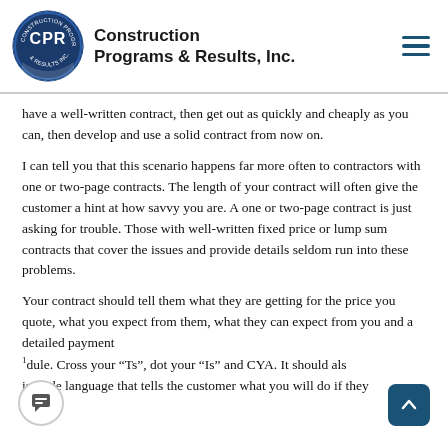Construction Programs & Results, Inc.
have a well-written contract, then get out as quickly and cheaply as you can, then develop and use a solid contract from now on.
I can tell you that this scenario happens far more often to contractors with one or two-page contracts. The length of your contract will often give the customer a hint at how savvy you are. A one or two-page contract is just asking for trouble. Those with well-written fixed price or lump sum contracts that cover the issues and provide details seldom run into these problems.
Your contract should tell them what they are getting for the price you quote, what you expect from them, what they can expect from you and a detailed payment 1 dule. Cross your “Ts”, dot your “Is” and CYA. It should also include language that tells the customer what you will do if they